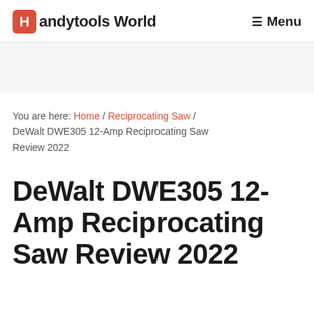Handytools World  ≡ Menu
You are here: Home / Reciprocating Saw / DeWalt DWE305 12-Amp Reciprocating Saw Review 2022
DeWalt DWE305 12-Amp Reciprocating Saw Review 2022